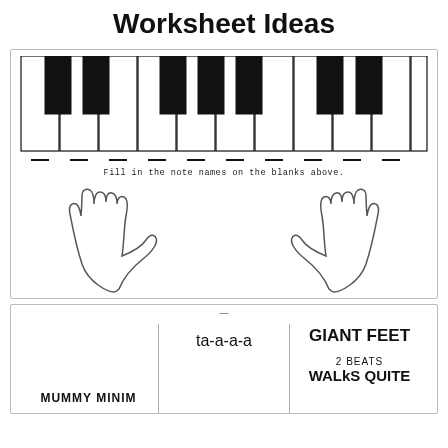Worksheet Ideas
[Figure (illustration): Piano keyboard diagram with blank note name labels below each white key, and two hand outlines (left and right hands) shown together below the keyboard]
Fill in the note names on the blanks above.
Free Printables C Position Worksheets 4dpianoteaching Com Piano Worksheets Teaching Music Worksheets For Kids
ta-a-a-a
GIANT FEET
2 BEATS
WALkS QUITE
MUMMY MINIM